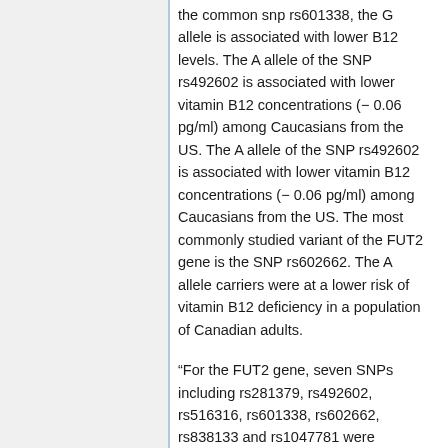the common snp rs601338, the G allele is associated with lower B12 levels. The A allele of the SNP rs492602 is associated with lower vitamin B12 concentrations (− 0.06 pg/ml) among Caucasians from the US. The A allele of the SNP rs492602 is associated with lower vitamin B12 concentrations (− 0.06 pg/ml) among Caucasians from the US. The most commonly studied variant of the FUT2 gene is the SNP rs602662. The A allele carriers were at a lower risk of vitamin B12 deficiency in a population of Canadian adults.
“For the FUT2 gene, seven SNPs including rs281379, rs492602, rs516316, rs601338, rs602662, rs838133 and rs1047781 were previously reported to be associated with vitamin B12 levels